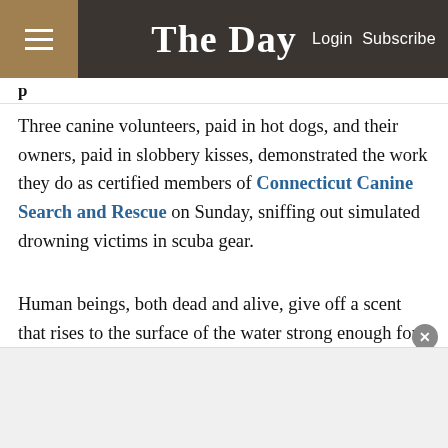The Day — Login Subscribe
Three canine volunteers, paid in hot dogs, and their owners, paid in slobbery kisses, demonstrated the work they do as certified members of Connecticut Canine Search and Rescue on Sunday, sniffing out simulated drowning victims in scuba gear.
Human beings, both dead and alive, give off a scent that rises to the surface of the water strong enough for trained dogs to sniff out. Marian Beland's Portuguese water dog Ted, a veteran search-and-rescue dog, scanned the water from an inflatable boat just off the docks during Sunday's